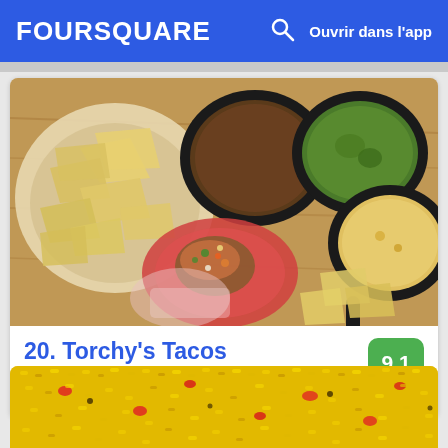FOURSQUARE  Ouvrir dans l'app
[Figure (photo): Overhead view of tacos and dips at Torchy's Tacos — chips, black cast iron skillets with salsa, guacamole, and queso, and tacos wrapped in paper on a wooden surface]
20. Torchy's Tacos
1801 E 51st St Bldg D (Berkman Dr.), Austin, TX
Bar à tacos · Mueller · 46 conseils et avis
[Figure (photo): Close-up of yellow Mexican rice with red pepper pieces, partially visible at the bottom of the page]